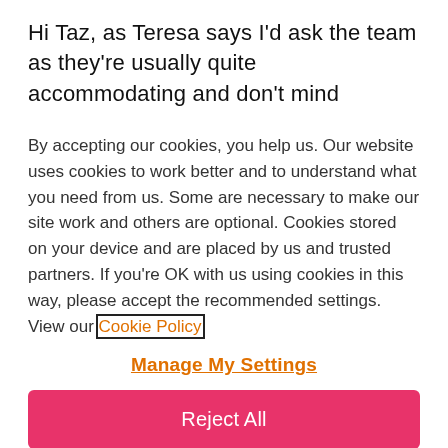Hi Taz, as Teresa says I'd ask the team as they're usually quite accommodating and don't mind rearranging a couple of dates. Fingers crossed for
By accepting our cookies, you help us. Our website uses cookies to work better and to understand what you need from us. Some are necessary to make our site work and others are optional. Cookies stored on your device and are placed by us and trusted partners. If you're OK with us using cookies in this way, please accept the recommended settings. View our Cookie Policy
Manage My Settings
Reject All
Accept All Cookies